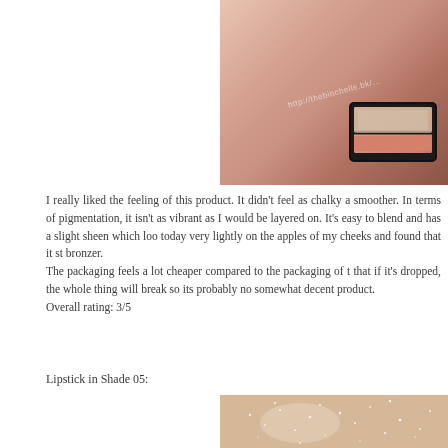[Figure (photo): Close-up photo of a blush compact with peach/coral colored blush, placed against skin background. Watermark text visible.]
I really liked the feeling of this product. It didn't feel as chalky a smoother. In terms of pigmentation, it isn't as vibrant as I would be layered on. It's easy to blend and has a slight sheen which loo today very lightly on the apples of my cheeks and found that it st bronzer.
The packaging feels a lot cheaper compared to the packaging of t that if it's dropped, the whole thing will break so its probably no somewhat decent product.
Overall rating: 3/5
Lipstick in Shade 05:
[Figure (photo): Close-up photo of skin swatch showing lipstick or shimmer product applied, with glittery/shimmery texture visible.]